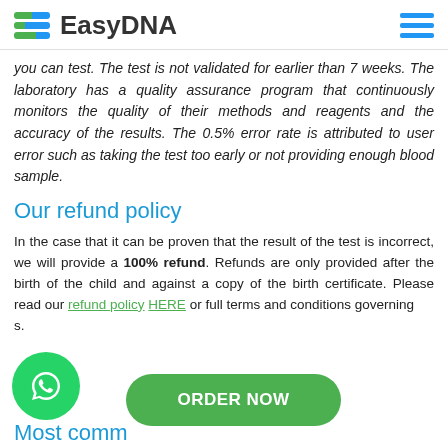EasyDNA
you can test. The test is not validated for earlier than 7 weeks. The laboratory has a quality assurance program that continuously monitors the quality of their methods and reagents and the accuracy of the results. The 0.5% error rate is attributed to user error such as taking the test too early or not providing enough blood sample.
Our refund policy
In the case that it can be proven that the result of the test is incorrect, we will provide a 100% refund. Refunds are only provided after the birth of the child and against a copy of the birth certificate. Please read our refund policy HERE or full terms and conditions governing s.
[Figure (other): WhatsApp chat button (green circle with WhatsApp icon)]
[Figure (other): ORDER NOW green rounded button]
Most comm...